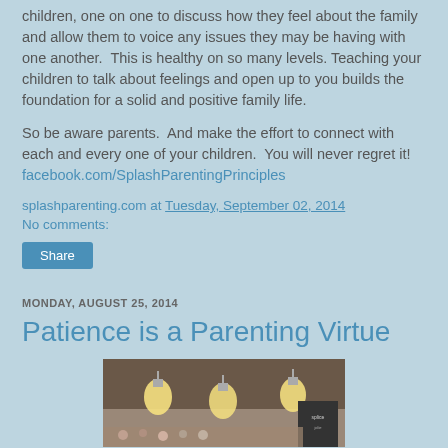children, one on one to discuss how they feel about the family and allow them to voice any issues they may be having with one another.  This is healthy on so many levels.  Teaching your children to talk about feelings and open up to you builds the foundation for a solid and positive family life.
So be aware parents.  And make the effort to connect with each and every one of your children.  You will never regret it! facebook.com/SplashParentingPrinciples
splashparenting.com at Tuesday, September 02, 2014
No comments:
Share
MONDAY, AUGUST 25, 2014
Patience is a Parenting Virtue
[Figure (photo): A photo showing hanging vintage Edison bulbs over what appears to be a market or event setup with chalkboard signs in the background.]